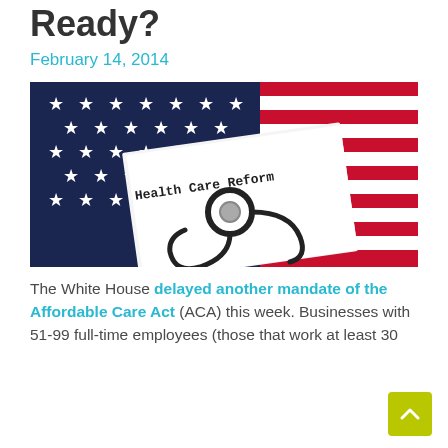Ready?
February 14, 2014
[Figure (photo): A white booklet titled 'Health Care Reform' in typewriter font, resting on an American flag with red, white and blue stripes and white stars, with a black stethoscope draped over the booklet.]
The White House delayed another mandate of the Affordable Care Act (ACA) this week. Businesses with 51-99 full-time employees (those that work at least 30